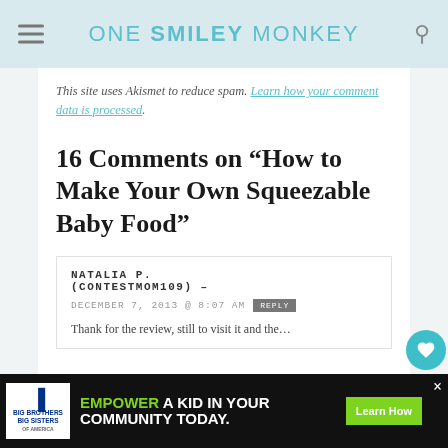ONE SMILEY MONKEY
This site uses Akismet to reduce spam. Learn how your comment data is processed.
16 Comments on “How to Make Your Own Squeezable Baby Food”
NATALIA P. (CONTESTMOM109) –
DECEMBER 7, 2013 @ 8:07 AM  REPLY
[Figure (other): Ad banner: Big Brothers Big Sisters logo with text EMPOWER A KID IN YOUR COMMUNITY TODAY. and Learn How button]